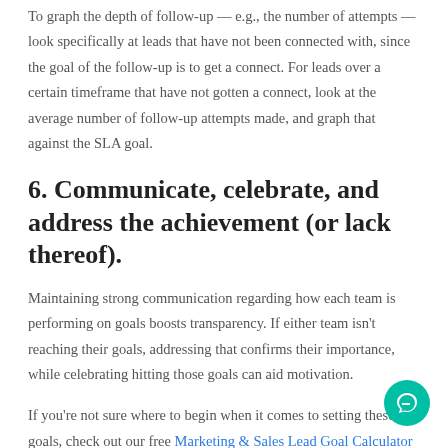To graph the depth of follow-up — e.g., the number of attempts — look specifically at leads that have not been connected with, since the goal of the follow-up is to get a connect. For leads over a certain timeframe that have not gotten a connect, look at the average number of follow-up attempts made, and graph that against the SLA goal.
6. Communicate, celebrate, and address the achievement (or lack thereof).
Maintaining strong communication regarding how each team is performing on goals boosts transparency. If either team isn't reaching their goals, addressing that confirms their importance, while celebrating hitting those goals can aid motivation.
If you're not sure where to begin when it comes to setting these goals, check out our free Marketing & Sales Lead Goal Calculator designed to help you determine and track the goals that will ...